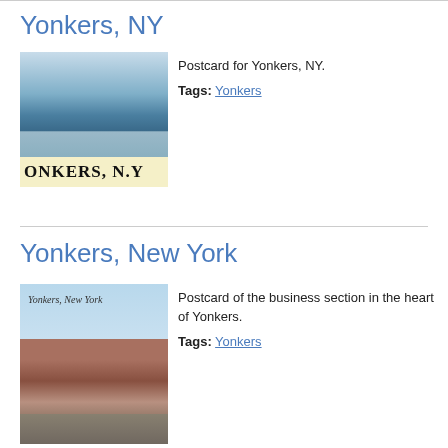Yonkers, NY
[Figure (photo): Postcard photo of Yonkers NY showing aerial/waterfront city view with 'YONKERS, N.Y.' text at bottom]
Postcard for Yonkers, NY.
Tags: Yonkers
Yonkers, New York
[Figure (photo): Postcard photo of the business section in the heart of Yonkers with 'Yonkers, New York' cursive caption]
Postcard of the business section in the heart of Yonkers.
Tags: Yonkers